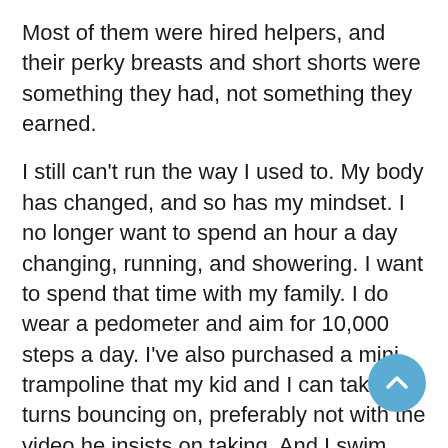Most of them were hired helpers, and their perky breasts and short shorts were something they had, not something they earned.
I still can't run the way I used to. My body has changed, and so has my mindset. I no longer want to spend an hour a day changing, running, and showering. I want to spend that time with my family. I do wear a pedometer and aim for 10,000 steps a day. I've also purchased a mini-trampoline that my kid and I can take turns bouncing on, preferably not with the video he insists on taking. And I swim and ski and ride bikes with him. None of it has put me in the kind of shape I once enjoyed. But we do have fun together, and someday when he moves on I'll have time to be intense about fitness again.